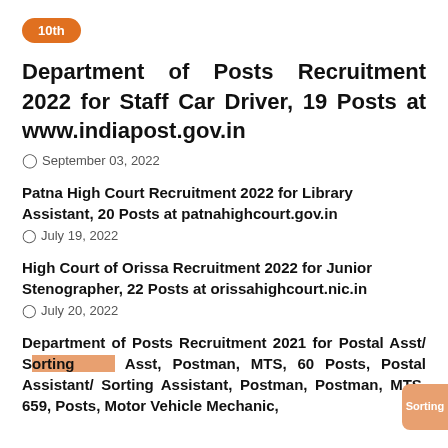Department of Posts Recruitment 2022 for Staff Car Driver, 19 Posts at www.indiapost.gov.in
September 03, 2022
Patna High Court Recruitment 2022 for Library Assistant, 20 Posts at patnahighcourt.gov.in
July 19, 2022
High Court of Orissa Recruitment 2022 for Junior Stenographer, 22 Posts at orissahighcourt.nic.in
July 20, 2022
Department of Posts Recruitment 2021 for Postal Asst/ Sorting Asst, Postman, MTS, 60 Posts, Postal Assistant/ Sorting Assistant, Postman, Postman, MTS, 659, Posts, Motor Vehicle Mechanic,